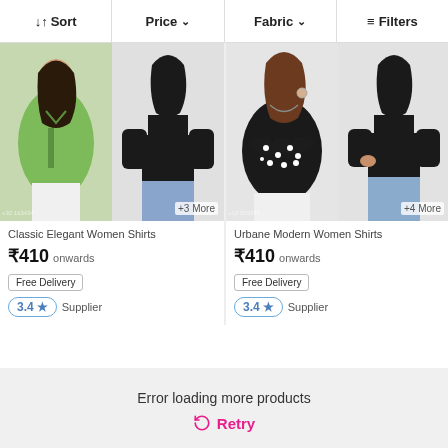↓↑ Sort   Price ⌄   Fabric ⌄   ≡ Filters
[Figure (photo): Product listing card 1: Classic Elegant Women Shirts with green shirt and black cold-shoulder top images]
+3 More
Classic Elegant Women Shirts
₹410 onwards
Free Delivery
3.4 ★ Supplier
[Figure (photo): Product listing card 2: Urbane Modern Women Shirts with black polka-dot top and black cold-shoulder top images]
+4 More
Urbane Modern Women Shirts
₹410 onwards
Free Delivery
3.4 ★ Supplier
Error loading more products
Retry